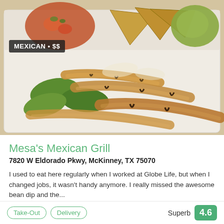[Figure (photo): Food photo showing grilled chicken strips with green peppers, onions, salsa, chips, and guacamole in a white styrofoam takeout container. Badge 'MEXICAN • $$' overlaid on top-left of image.]
Mesa's Mexican Grill
7820 W Eldorado Pkwy, McKinney, TX 75070
I used to eat here regularly when I worked at Globe Life, but when I changed jobs, it wasn't handy anymore. I really missed the awesome bean dip and the...
(469) 617-3090
Order online
Take-Out   Delivery
Superb  4.6